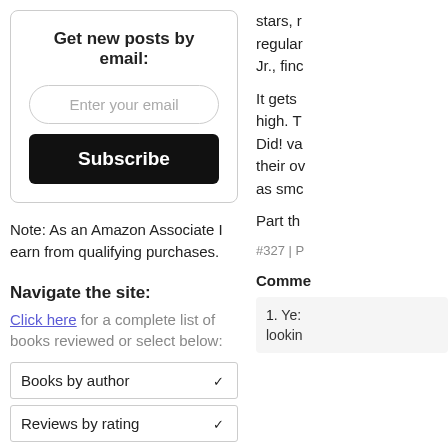Get new posts by email:
Enter your email
Subscribe
Note: As an Amazon Associate I earn from qualifying purchases.
Navigate the site:
Click here for a complete list of books reviewed or select below:
Books by author
Reviews by rating
5 stars by year read
stars, r regular Jr., finc
It gets high. T Did! va their ov as smc
Part th
#327 | P
Comme
1. Ye: lookin